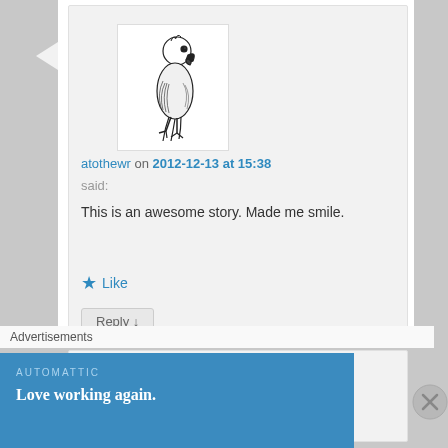[Figure (illustration): Black and white illustration of a parrot perched on a branch, serving as user avatar]
atothewr on 2012-12-13 at 15:38
said:
This is an awesome story. Made me smile.
★ Like
Reply ↓
[Figure (photo): Partial photo thumbnail of second commenter's avatar, dark tones]
Advertisements
AUTOMATTIC
Love working again.